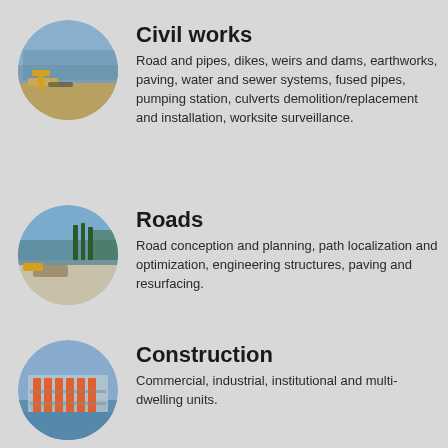[Figure (photo): Circular photo of civil engineering construction site with excavator working near water]
Civil works
Road and pipes, dikes, weirs and dams, earthworks, paving, water and sewer systems, fused pipes, pumping station, culverts demolition/replacement and installation, worksite surveillance.
[Figure (photo): Circular photo of road construction site with heavy machinery and trees in background]
Roads
Road conception and planning, path localization and optimization, engineering structures, paving and resurfacing.
[Figure (photo): Circular photo of construction site with building framework and scaffolding]
Construction
Commercial, industrial, institutional and multi-dwelling units.